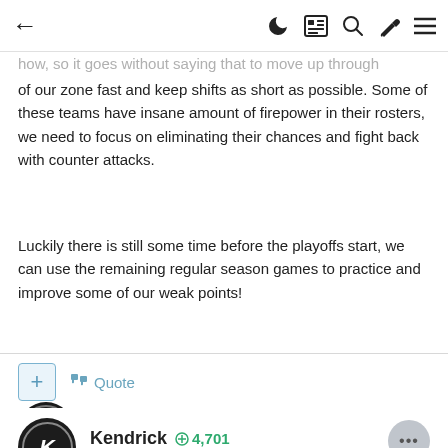← (navigation bar with icons)
of our zone fast and keep shifts as short as possible. Some of these teams have insane amount of firepower in their rosters, we need to focus on eliminating their chances and fight back with counter attacks.
Luckily there is still some time before the playoffs start, we can use the remaining regular season games to practice and improve some of our weak points!
Kendrick • 4,701
Posted March 13, 2017
Claimed